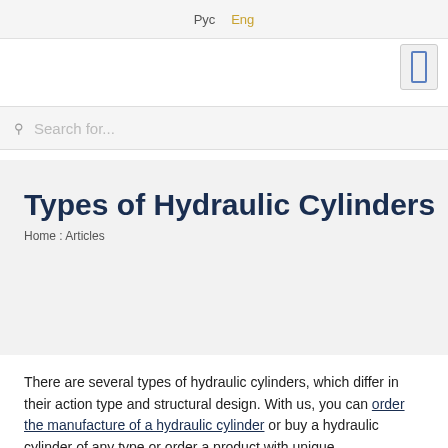Рус  Eng
[Figure (other): Small rectangle icon (mobile/menu toggle) in gray box, top right]
Search for...
Types of Hydraulic Cylinders
Home : Articles
There are several types of hydraulic cylinders, which differ in their action type and structural design. With us, you can order the manufacture of a hydraulic cylinder or buy a hydraulic cylinder of any type or order a product with unique characteristics.